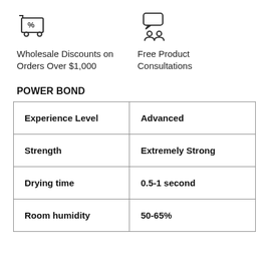[Figure (illustration): Shopping cart icon with percent sign]
Wholesale Discounts on Orders Over $1,000
[Figure (illustration): Two people with speech bubble icon representing consultations]
Free Product Consultations
POWER BOND
| Experience Level | Advanced |
| Strength | Extremely Strong |
| Drying time | 0.5-1 second |
| Room humidity | 50-65% |